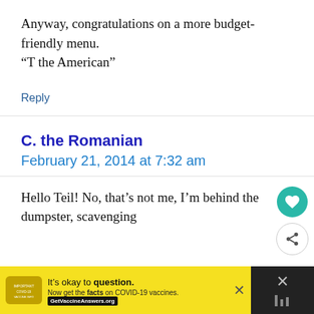Anyway, congratulations on a more budget-friendly menu.
“T the American”
Reply
C. the Romanian
February 21, 2014 at 7:32 am
Hello Teil! No, that’s not me, I’m behind the dumpster, scavenging
[Figure (other): Advertisement banner: It's okay to question. Now get the facts on COVID-19 vaccines. GetVaccineAnswers.org]